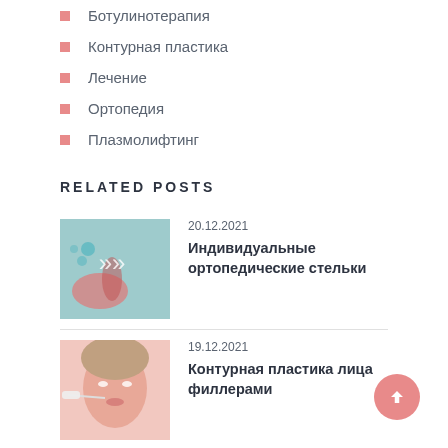Ботулинотерапия
Контурная пластика
Лечение
Ортопедия
Плазмолифтинг
RELATED POSTS
20.12.2021
Индивидуальные ортопедические стельки
[Figure (photo): Orthopedic insoles product photo with teal background and arrow icons]
19.12.2021
Контурная пластика лица филлерами
[Figure (photo): Woman receiving facial filler injection, close-up photo]